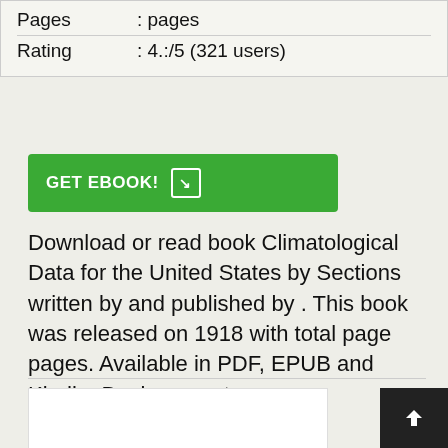| Field | Value |
| --- | --- |
| Pages | : pages |
| Rating | : 4.:/5 (321 users) |
[Figure (other): Green GET EBOOK! button with arrow icon]
Download or read book Climatological Data for the United States by Sections written by and published by . This book was released on 1918 with total page pages. Available in PDF, EPUB and Kindle. Book excerpt:
[Figure (other): White content box placeholder at bottom left]
[Figure (other): Dark back-to-top button with upward arrow at bottom right]